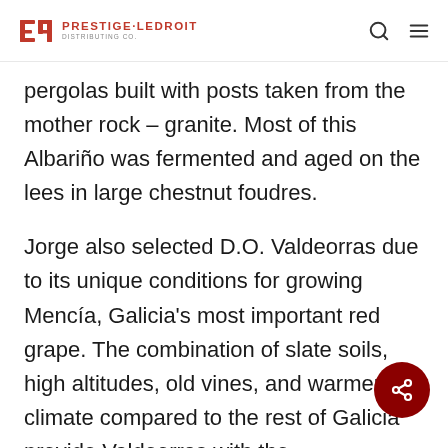Prestige-Ledroit Distributing Co.
pergolas built with posts taken from the mother rock – granite. Most of this Albariño was fermented and aged on the lees in large chestnut foudres.
Jorge also selected D.O. Valdeorras due to its unique conditions for growing Mencía, Galicia's most important red grape. The combination of slate soils, high altitudes, old vines, and warmer climate compared to the rest of Galicia provide Valdeorras with the